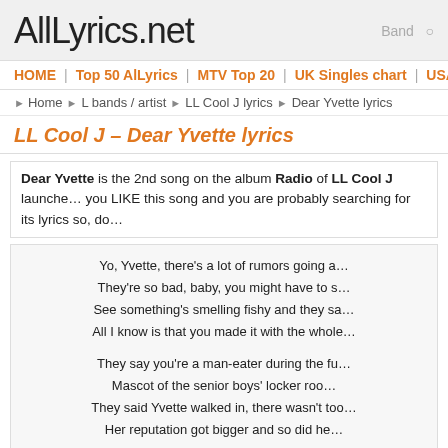AllLyrics.net  Band O...
HOME | Top 50 AlLyrics | MTV Top 20 | UK Singles chart | USA Billboard
Home > L bands / artist > LL Cool J lyrics > Dear Yvette lyrics
LL Cool J – Dear Yvette lyrics
Dear Yvette is the 2nd song on the album Radio of LL Cool J launched... you LIKE this song and you are probably searching for its lyrics so, do
Yo, Yvette, there's a lot of rumors going a...
They're so bad, baby, you might have to s...
See something's smelling fishy and they sa...
All I know is that you made it with the whole...

They say you're a man-eater during the fu...
Mascot of the senior boys' locker roo...
They said Yvette walked in, there wasn't too...
Her reputation got bigger and so did he...
'Cuz girl, your momma shoulda taught yo...
I'ma sit down and write you a long le...

Dear, Yvette
Dear Yvette...